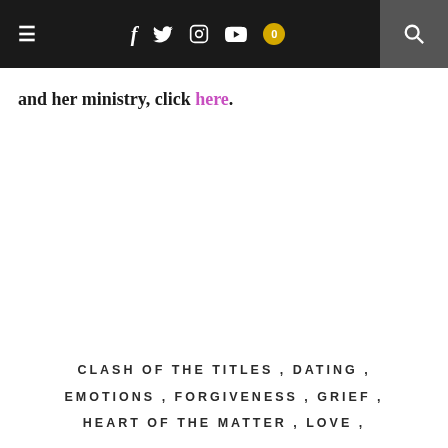Navigation bar with menu, social icons, and search
and her ministry, click here.
CLASH OF THE TITLES, DATING, EMOTIONS, FORGIVENESS, GRIEF, HEART OF THE MATTER, LOVE,